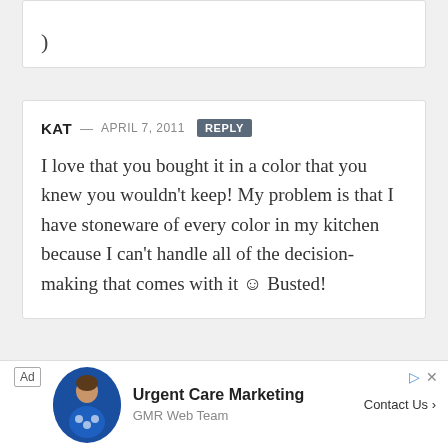)
KAT — APRIL 7, 2011 REPLY

I love that you bought it in a color that you knew you wouldn't keep! My problem is that I have stoneware of every color in my kitchen because I can't handle all of the decision-making that comes with it ☺ Busted!
[Figure (other): Advertisement banner for Urgent Care Marketing by GMR Web Team with a photo of a woman]